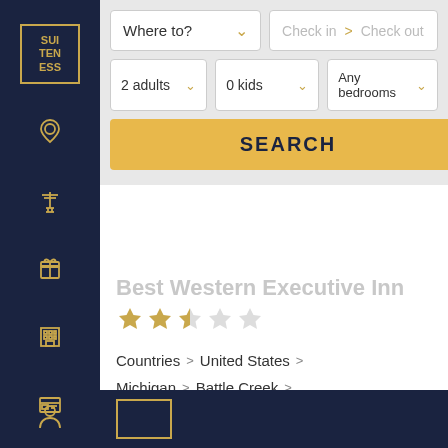[Figure (logo): Suiteness logo in gold border on dark navy sidebar]
[Figure (screenshot): Hotel search interface with Where to, Check in, Check out, 2 adults, 0 kids, Any bedrooms dropdowns and SEARCH button]
Best Western Executive Inn
[Figure (illustration): Star rating: 2.5 out of 5 stars (gold stars)]
Countries > United States > Michigan > Battle Creek >
Best Western Executive Inn